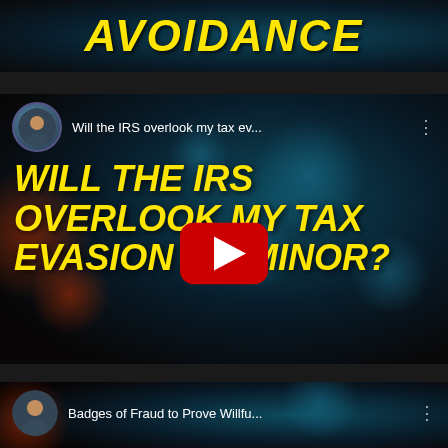AVOIDANCE
[Figure (screenshot): YouTube video thumbnail: 'Will the IRS overlook my tax ev...' with bold yellow italic text 'WILL THE IRS OVERLOOK MY TAX EVASION THAT'S MINOR?' on dark bokeh background with YouTube play button]
[Figure (screenshot): Partial YouTube video thumbnail: 'Badges of Fraud to Prove Willfu...' with bold yellow italic text 'BADGES OF FRAUD TO PROVE WILLFULNESS' on dark bokeh background with YouTube play button]